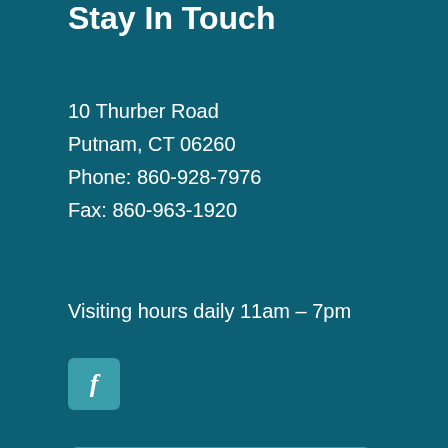Stay In Touch
10 Thurber Road
Putnam, CT 06260
Phone: 860-928-7976
Fax: 860-963-1920
Visiting hours daily 11am – 7pm
[Figure (logo): Facebook icon — teal rounded square with white letter f]
Contact Us